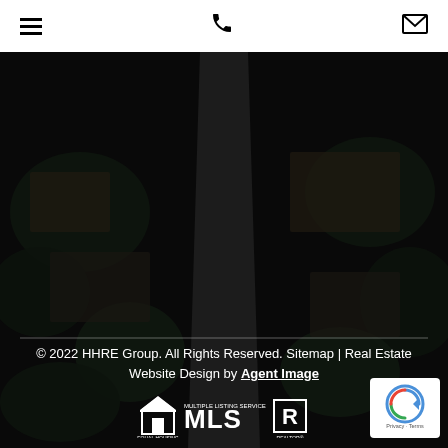[hamburger menu] [phone icon] [email icon]
[Figure (photo): Aerial/overhead dark photograph of a residential neighborhood with large homes, trees, and a road running through the center. The image has a dark/moody tone.]
© 2022 HHRE Group. All Rights Reserved. Sitemap | Real Estate Website Design by Agent Image
[Figure (logo): Equal Housing Opportunity logo, MLS (Multiple Listing Service) logo, and Realtor logo displayed in white on dark background]
[Figure (other): Google reCAPTCHA badge showing reCAPTCHA logo with Privacy and Terms text]